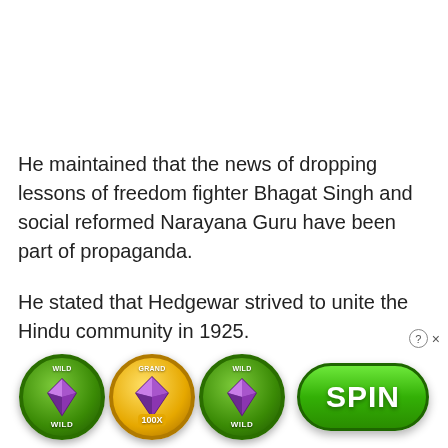He maintained that the news of dropping lessons of freedom fighter Bhagat Singh and social reformed Narayana Guru have been part of propaganda.
He stated that Hedgewar strived to unite the Hindu community in 1925.
“Terrorists are creating havoc in the country despite × [truncated]
[Figure (screenshot): Online advertisement banner showing three slot machine coin icons with diamonds and a green SPIN button]